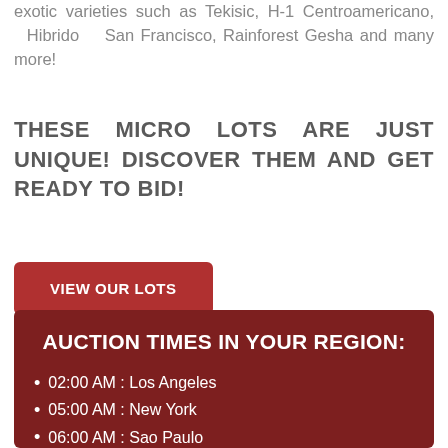exotic varieties such as Tekisic, H-1 Centroamericano, Hibrido San Francisco, Rainforest Gesha and many more!
THESE MICRO LOTS ARE JUST UNIQUE! DISCOVER THEM AND GET READY TO BID!
VIEW OUR LOTS
AUCTION TIMES IN YOUR REGION:
02:00 AM : Los Angeles
05:00 AM : New York
06:00 AM : Sao Paulo